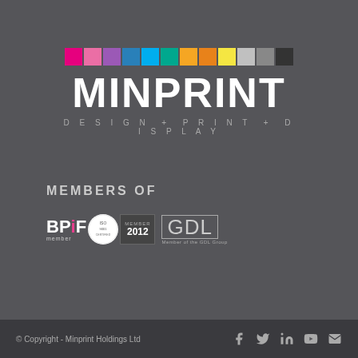[Figure (logo): Minprint logo with color squares (magenta, pink, purple, blue, cyan, teal, yellow/orange, orange, yellow, light gray, gray, dark/black) above bold white MINPRINT text, with tagline DESIGN + PRINT + DISPLAY below]
MEMBERS OF
[Figure (logo): BPiF member logo, ISO certification badge, MEMBER 2012 badge, and GDL Group logo]
© Copyright - Minprint Holdings Ltd